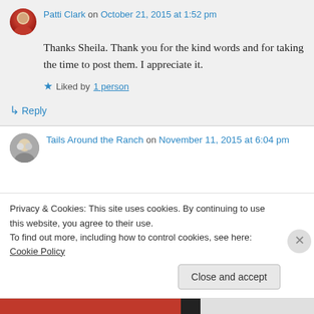Patti Clark on October 21, 2015 at 1:52 pm
Thanks Sheila. Thank you for the kind words and for taking the time to post them. I appreciate it.
Liked by 1 person
↳ Reply
Tails Around the Ranch on November 11, 2015 at 6:04 pm
Privacy & Cookies: This site uses cookies. By continuing to use this website, you agree to their use.
To find out more, including how to control cookies, see here: Cookie Policy
Close and accept